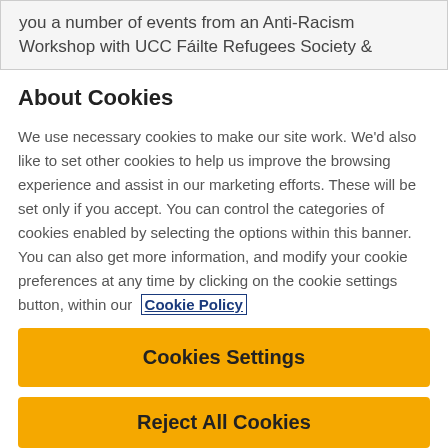you a number of events from an Anti-Racism Workshop with UCC Fáilte Refugees Society &
About Cookies
We use necessary cookies to make our site work. We'd also like to set other cookies to help us improve the browsing experience and assist in our marketing efforts. These will be set only if you accept. You can control the categories of cookies enabled by selecting the options within this banner. You can also get more information, and modify your cookie preferences at any time by clicking on the cookie settings button, within our Cookie Policy
Cookies Settings
Reject All Cookies